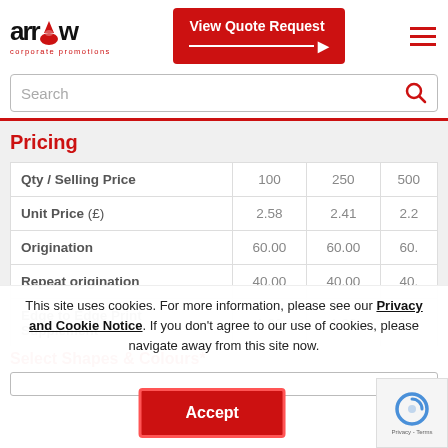[Figure (logo): Arrow Corporate Promotions logo with red flame/arrow icon]
[Figure (other): View Quote Request red button with arrow]
[Figure (other): Hamburger menu icon in red]
Search
Pricing
| Qty / Selling Price | 100 | 250 | 500 |
| --- | --- | --- | --- |
| Unit Price (£) | 2.58 | 2.41 | 2.2... |
| Origination | 60.00 | 60.00 | 60.... |
| Repeat origination | 40.00 | 40.00 | 40.... |
| Edge to Edge Print Supplement | 1.80 | 1.80 | 1.8... |
This site uses cookies. For more information, please see our Privacy and Cookie Notice. If you don't agree to our use of cookies, please navigate away from this site now.
Accept
Select Shapes & Colours*